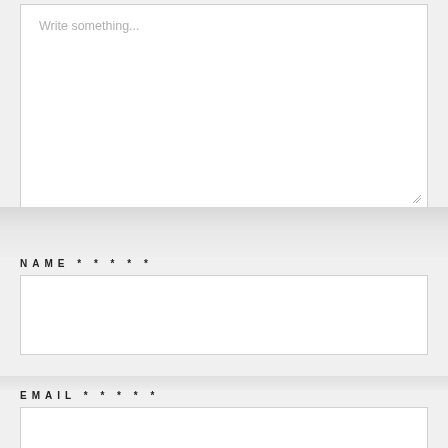Write something...
NAME * * * * *
EMAIL * * * * *